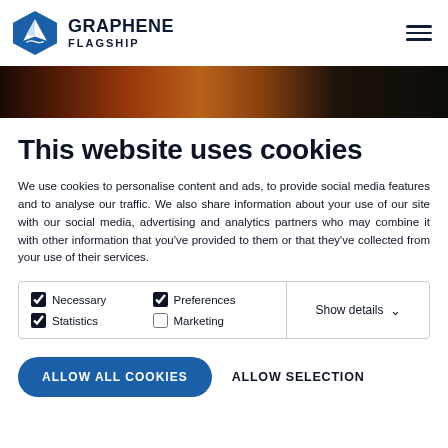GRAPHENE FLAGSHIP
[Figure (photo): Dark wood grain texture strip across the page]
This website uses cookies
We use cookies to personalise content and ads, to provide social media features and to analyse our traffic. We also share information about your use of our site with our social media, advertising and analytics partners who may combine it with other information that you've provided to them or that they've collected from your use of their services.
| Necessary | Preferences | Statistics | Show details |
| Marketing |  |  |  |
ALLOW ALL COOKIES   ALLOW SELECTION